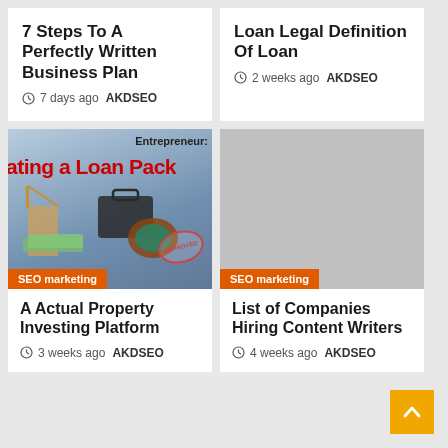7 Steps To A Perfectly Written Business Plan
7 days ago  AKDSEO
Loan Legal Definition Of Loan
2 weeks ago  AKDSEO
[Figure (illustration): Book cover showing 'Creating a Loan Pack' with business items (briefcase, blueprints, stamp reading APPROVED, money). Text overlay 'SEO marketing' in orange badge. Label 'Entrepreneur:' at top right.]
[Figure (photo): Gray placeholder image with orange SEO marketing badge at bottom left.]
A Actual Property Investing Platform
3 weeks ago  AKDSEO
List of Companies Hiring Content Writers
4 weeks ago  AKDSEO